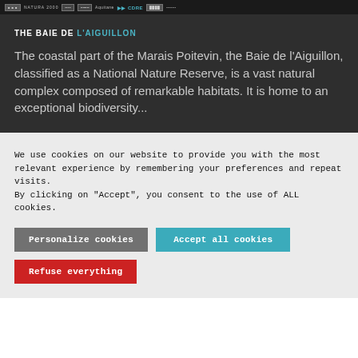logos: NATURA 2000, Aquitane, CDRE
THE BAIE DE L'AIGUILLON
The coastal part of the Marais Poitevin, the Baie de l'Aiguillon, classified as a National Nature Reserve, is a vast natural complex composed of remarkable habitats. It is home to an exceptional biodiversity...
We use cookies on our website to provide you with the most relevant experience by remembering your preferences and repeat visits.
By clicking on "Accept", you consent to the use of ALL cookies.
Personalize cookies | Accept all cookies | Refuse everything